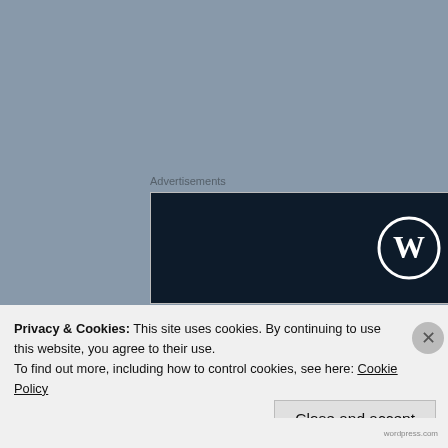Advertisements
[Figure (logo): WordPress logo on dark navy background advertisement block]
Now the romance … it was gooood. The way they flirted with each other in the early stages. While they were training, and when they were together during their off hours. Followed by some steamy
Privacy & Cookies: This site uses cookies. By continuing to use this website, you agree to their use.
To find out more, including how to control cookies, see here: Cookie Policy
Close and accept